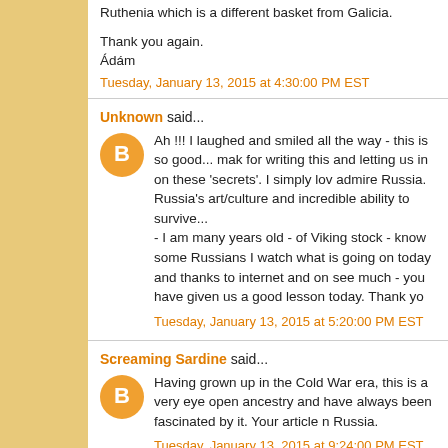Ruthenia which is a different basket from Galicia.

Thank you again.
Ádám
Tuesday, January 13, 2015 at 4:30:00 PM EST
Unknown said...
Ah !!! I laughed and smiled all the way - this is so good... mak for writing this and letting us in on these 'secrets'. I simply lov admire Russia.
Russia's art/culture and incredible ability to survive...
- I am many years old - of Viking stock - know some Russians I watch what is going on today and thanks to internet and on see much - you have given us a good lesson today. Thank yo
Tuesday, January 13, 2015 at 5:20:00 PM EST
Screaming Sardine said...
Having grown up in the Cold War era, this is a very eye open ancestry and have always been fascinated by it. Your article n Russia.
Tuesday, January 13, 2015 at 9:24:00 PM EST
Anna R said...